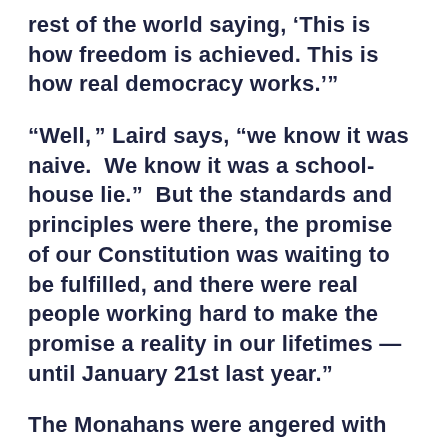rest of the world saying, ‘This is how freedom is achieved. This is how real democracy works.’”
“Well, ” Laird says, “we know it was naive. We know it was a school-house lie.” But the standards and principles were there, the promise of our Constitution was waiting to be fulfilled, and there were real people working hard to make the promise a reality in our lifetimes —until January 21st last year.”
The Monahans were angered with